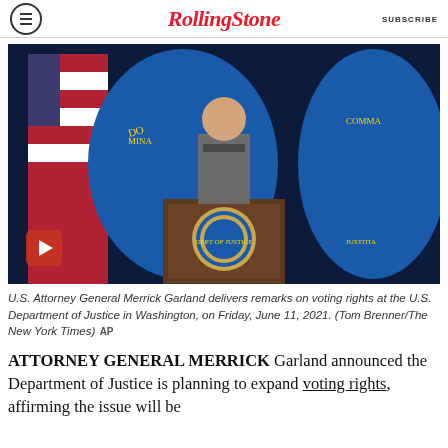Rolling Stone — SUBSCRIBE
[Figure (photo): U.S. Attorney General Merrick Garland stands at a podium with the Department of Justice seal, flanked by American flags and blue DOJ flags with gold seals, delivering remarks on voting rights.]
U.S. Attorney General Merrick Garland delivers remarks on voting rights at the U.S. Department of Justice in Washington, on Friday, June 11, 2021. (Tom Brenner/The New York Times) AP
ATTORNEY GENERAL MERRICK Garland announced the Department of Justice is planning to expand voting rights, affirming the issue will be